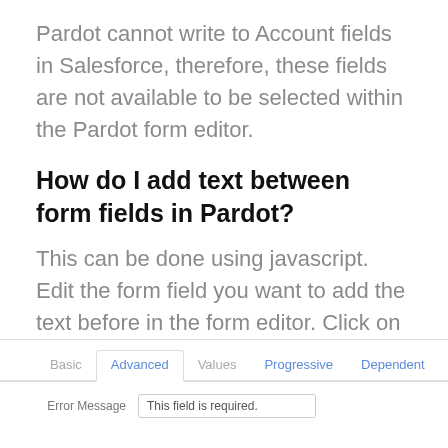Pardot cannot write to Account fields in Salesforce, therefore, these fields are not available to be selected within the Pardot form editor.
How do I add text between form fields in Pardot?
This can be done using javascript. Edit the form field you want to add the text before in the form editor. Click on the advanced tab and add a CSS class with the name “add-text-before”.
[Figure (screenshot): Screenshot of a Pardot form editor showing tabs: Basic, Advanced (active), Values, Progressive, Dependent. Below is a form row with label 'Error Message' and input field showing 'This field is required.']